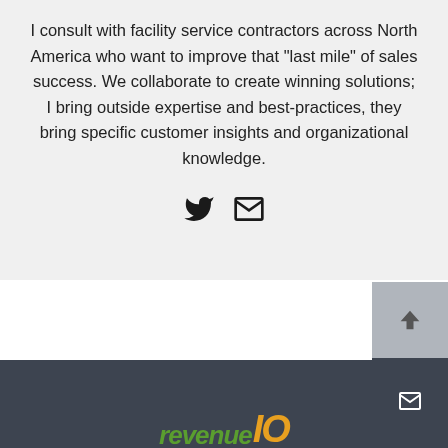I consult with facility service contractors across North America who want to improve that "last mile" of sales success. We collaborate to create winning solutions; I bring outside expertise and best-practices, they bring specific customer insights and organizational knowledge.
[Figure (infographic): Social media icons: Twitter bird icon and envelope/email icon]
[Figure (logo): revenue.IO logo in footer — 'revenue' in green italic bold, 'IO' in orange italic bold, on dark gray background]